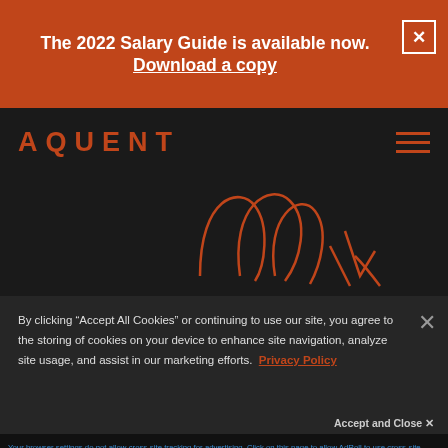The 2022 Salary Guide is available now. Download a copy
[Figure (logo): AQUENT logo in orange on dark background with hamburger menu icon]
[Figure (illustration): Orange outline illustration of abstract shapes on dark background]
By clicking “Accept All Cookies” or continuing to use our site, you agree to the storing of cookies on your device to enhance site navigation, analyze site usage, and assist in our marketing efforts. Privacy Policy
Accept and Close ×
Your browser settings do not allow cross-site tracking for advertising. Click on this page to allow AdRoll to use cross-site tracking to tailor ads to you. Learn more or opt out of this AdRoll tracking by clicking here. This message only appears once.